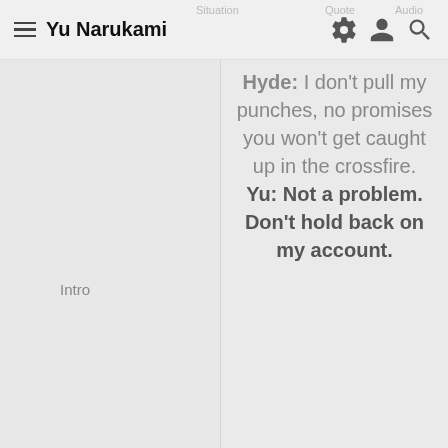Yu Narukami | Situation | Quote | Audio
Intro
Hyde: I don't pull my punches, no promises you won't get caught up in the crossfire. Yu: Not a problem. Don't hold back on my account.